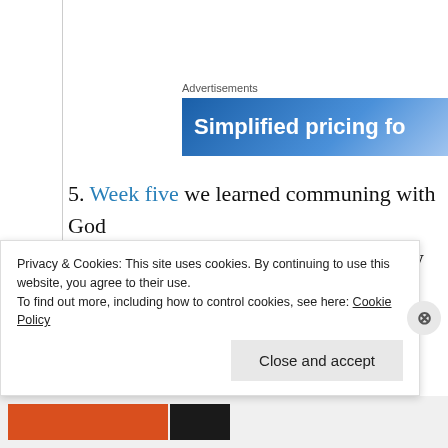[Figure (screenshot): Advertisement banner with blue gradient background and white text reading 'Simplified pricing fo...']
5. Week five we learned communing with God not begging Him for answers.  We know we ca answers, because of the promises He has alrea not assure a heart for God; one is just grabbin believe specifies we know who God is: God's p
Privacy & Cookies: This site uses cookies. By continuing to use this website, you agree to their use.
To find out more, including how to control cookies, see here: Cookie Policy
Close and accept